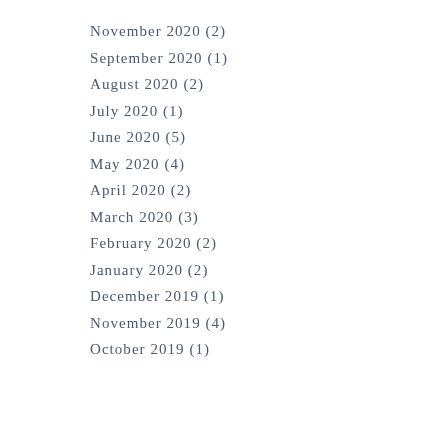November 2020 (2)
September 2020 (1)
August 2020 (2)
July 2020 (1)
June 2020 (5)
May 2020 (4)
April 2020 (2)
March 2020 (3)
February 2020 (2)
January 2020 (2)
December 2019 (1)
November 2019 (4)
October 2019 (1)